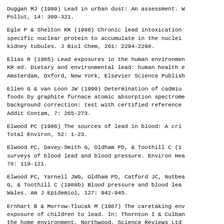Duggan MJ (1980) Lead in urban dust: An assessment. W Pollut, 14: 309-321.
Egle P & Shelton KR (1986) Chronic lead intoxication specific nuclear protein to accumulate in the nuclei kidney tubules. J Biol Chem, 261: 2294-2298.
Elias R (1985) Lead exposures in the human environmen KR ed. Dietary and environmental lead: human health e Amsterdam, Oxford, New York, Elsevier Science Publish
Ellen G & van Loon JW (1990) Determination of cadmiu foods by graphite furnace atomic absorption spectrome background correction: test with certified reference Addit Contam, 7: 265-273.
Elwood PC (1986) The sources of lead in blood: A cri Total Environ, 52: 1-23.
Elwood PC, Davey-Smith G, Oldham PD, & Toothill C (1 surveys of blood lead and blood pressure. Environ Hea 78: 119-121.
Elwood PC, Yarnell JWG, Oldham PD, Catford JC, Nutbea G, & Toothill C (1988b) Blood pressure and blood lea Wales. Am J Epidemiol, 127: 942-945.
Ernhart B & Morrow-Tlucak M (1987) The caretaking env exposure of children to lead. In: Thornton I & Culban the home environment. Northwood, Science Reviews Ltd